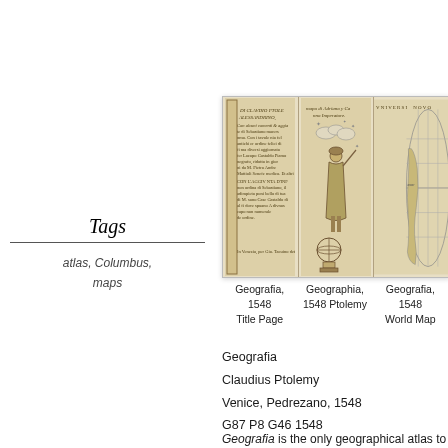Tags
atlas, Columbus, maps
[Figure (photo): Three-panel image strip showing pages from Geografia, 1548: a title page with ornamental border text, a figure of Ptolemy with celestial globe, and a world map.]
Geografia, 1548 Title Page
Geographia, 1548 Ptolemy
Geografia, 1548 World Map
Geografia
Claudius Ptolemy
Venice, Pedrezano, 1548
G87 P8 G46 1548
Geografia is the only geographical atlas to survive from antiquity.  Preserved by the Arab world, it finally